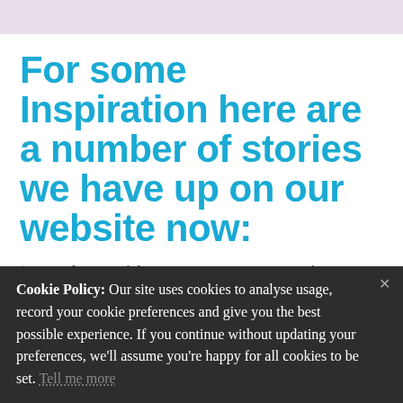For some Inspiration here are a number of stories we have up on our website now:
(To see the rest of the stories visit our community
Cookie Policy: Our site uses cookies to analyse usage, record your cookie preferences and give you the best possible experience. If you continue without updating your preferences, we'll assume you're happy for all cookies to be set. Tell me more